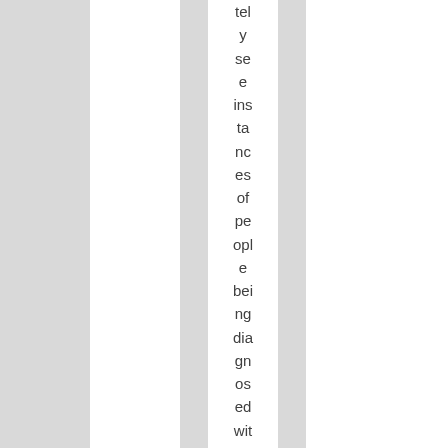tely see instances of people being diagnosed with BPD